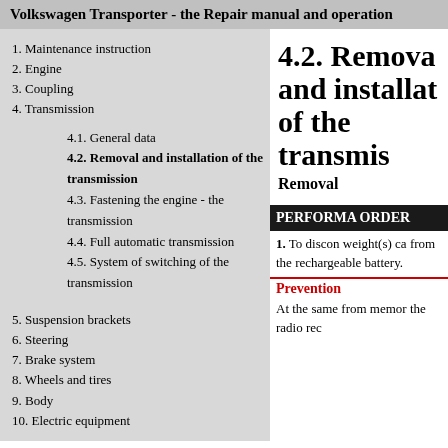Volkswagen Transporter - the Repair manual and operation
1. Maintenance instruction
2. Engine
3. Coupling
4. Transmission
4.1. General data
4.2. Removal and installation of the transmission
4.3. Fastening the engine - the transmission
4.4. Full automatic transmission
4.5. System of switching of the transmission
5. Suspension brackets
6. Steering
7. Brake system
8. Wheels and tires
9. Body
10. Electric equipment
4.2. Removal and installation of the transmission
Removal
PERFORMANCE ORDER
1. To disconnect weight(s) cable from the rechargeable battery.
Prevention
At the same from memory the radio rec